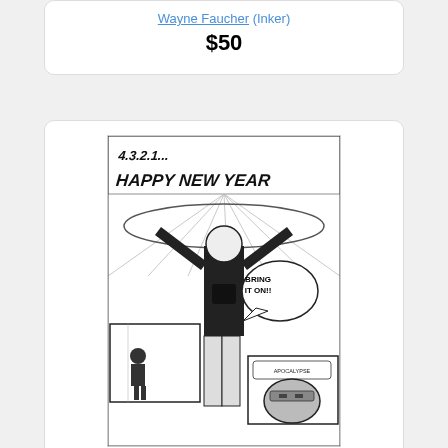Wayne Faucher (Inker)
$50
[Figure (illustration): Black and white comic book splash page artwork for Four Horsemen #2 p.1, showing a superhero figure with arms raised in a stadium setting with text '4-3-2-1...HAPPY NEW YEAR' and speech bubble 'BRING IT ON!!']
Four Horsemen #2 p.1 Splash line art